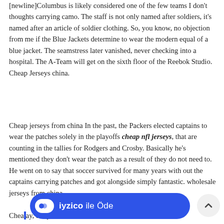[newline]Columbus is likely considered one of the few teams I don't thoughts carrying camo. The staff is not only named after soldiers, it's named after an article of soldier clothing. So, you know, no objection from me if the Blue Jackets determine to wear the modern equal of a blue jacket. The seamstress later vanished, never checking into a hospital. The A-Team will get on the sixth floor of the Reebok Studio. Cheap Jerseys china.
Cheap jerseys from china In the past, the Packers elected captains to wear the patches solely in the playoffs cheap nfl jerseys, that are counting in the tallies for Rodgers and Crosby. Basically he's mentioned they don't wear the patch as a result of they do not need to. He went on to say that soccer survived for many years with out the captains carrying patches and got alongside simply fantastic. wholesale jerseys from china.
[Figure (other): iyzico ile Öde payment button banner in blue with logo]
Chea... ay, the patch is